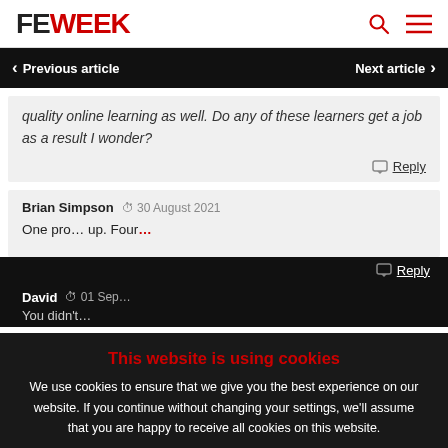FE WEEK
< Previous article   Next article >
quality online learning as well. Do any of these learners get a job as a result I wonder?
Reply
Brian Simpson  30 August 2021
One pro... up. Four...
Reply
This website is using cookies
We use cookies to ensure that we give you the best experience on our website. If you continue without changing your settings, we'll assume that you are happy to receive all cookies on this website.
Accept   Learn More
David  01 Sep...
You didn't...